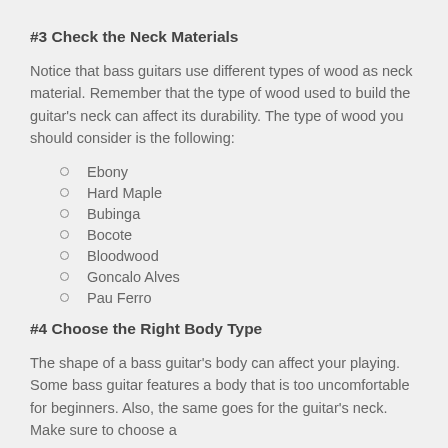#3 Check the Neck Materials
Notice that bass guitars use different types of wood as neck material. Remember that the type of wood used to build the guitar's neck can affect its durability. The type of wood you should consider is the following:
Ebony
Hard Maple
Bubinga
Bocote
Bloodwood
Goncalo Alves
Pau Ferro
#4 Choose the Right Body Type
The shape of a bass guitar's body can affect your playing. Some bass guitar features a body that is too uncomfortable for beginners. Also, the same goes for the guitar's neck. Make sure to choose a